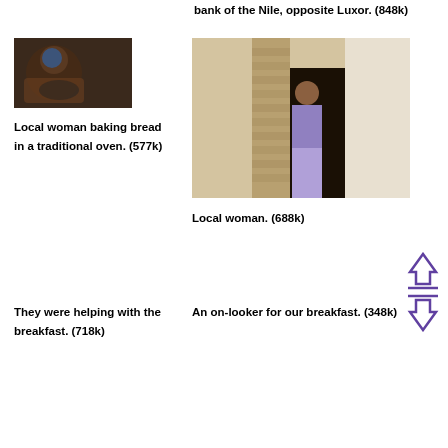bank of the Nile, opposite Luxor. (848k)
[Figure (photo): Local woman baking bread in a traditional oven]
Local woman baking bread in a traditional oven. (577k)
[Figure (photo): Local woman standing in a doorway of a mud brick building]
Local woman. (688k)
They were helping with the breakfast. (718k)
An on-looker for our breakfast. (348k)
[Figure (illustration): Navigation arrows: up and down arrows in purple/violet color]